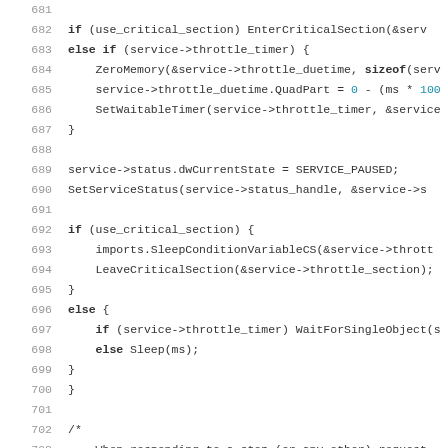Source code snippet lines 681-703 showing C/C++ service throttle and status logic